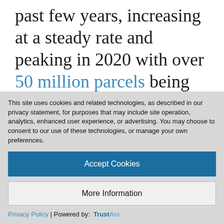past few years, increasing at a steady rate and peaking in 2020 with over 50 million parcels being shipped every day – in the U.S. alone. This swell is, of course, driven by e-commerce sales,
This site uses cookies and related technologies, as described in our privacy statement, for purposes that may include site operation, analytics, enhanced user experience, or advertising. You may choose to consent to our use of these technologies, or manage your own preferences.
Accept Cookies
More Information
Privacy Policy | Powered by: TrustArc